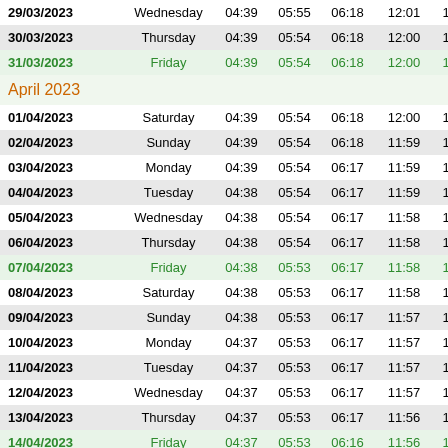| Date | Day | Col3 | Col4 | Col5 | Col6 | Col7 |
| --- | --- | --- | --- | --- | --- | --- |
| 29/03/2023 | Wednesday | 04:39 | 05:55 | 06:18 | 12:01 | 1 |
| 30/03/2023 | Thursday | 04:39 | 05:54 | 06:18 | 12:00 | 1 |
| 31/03/2023 | Friday | 04:39 | 05:54 | 06:18 | 12:00 | 1 |
|  |  |  |  | April 2023 |  |  |
| 01/04/2023 | Saturday | 04:39 | 05:54 | 06:18 | 12:00 | 1 |
| 02/04/2023 | Sunday | 04:39 | 05:54 | 06:18 | 11:59 | 1 |
| 03/04/2023 | Monday | 04:39 | 05:54 | 06:17 | 11:59 | 1 |
| 04/04/2023 | Tuesday | 04:38 | 05:54 | 06:17 | 11:59 | 1 |
| 05/04/2023 | Wednesday | 04:38 | 05:54 | 06:17 | 11:58 | 1 |
| 06/04/2023 | Thursday | 04:38 | 05:54 | 06:17 | 11:58 | 1 |
| 07/04/2023 | Friday | 04:38 | 05:53 | 06:17 | 11:58 | 1 |
| 08/04/2023 | Saturday | 04:38 | 05:53 | 06:17 | 11:58 | 1 |
| 09/04/2023 | Sunday | 04:38 | 05:53 | 06:17 | 11:57 | 1 |
| 10/04/2023 | Monday | 04:37 | 05:53 | 06:17 | 11:57 | 1 |
| 11/04/2023 | Tuesday | 04:37 | 05:53 | 06:17 | 11:57 | 1 |
| 12/04/2023 | Wednesday | 04:37 | 05:53 | 06:17 | 11:57 | 1 |
| 13/04/2023 | Thursday | 04:37 | 05:53 | 06:17 | 11:56 | 1 |
| 14/04/2023 | Friday | 04:37 | 05:53 | 06:16 | 11:56 | 1 |